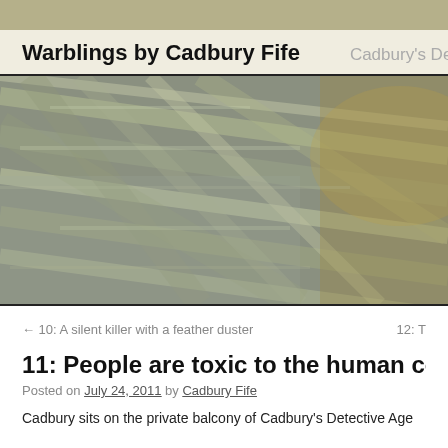Warblings by Cadbury Fife   Cadbury's De
[Figure (photo): Close-up blurred photo of a bird, showing feathers in muted olive, grey, and brown tones with bokeh-style blur.]
← 10: A silent killer with a feather duster    12: T
11: People are toxic to the human conditi
Posted on July 24, 2011 by Cadbury Fife
Cadbury sits on the private balcony of Cadbury's Detective Age